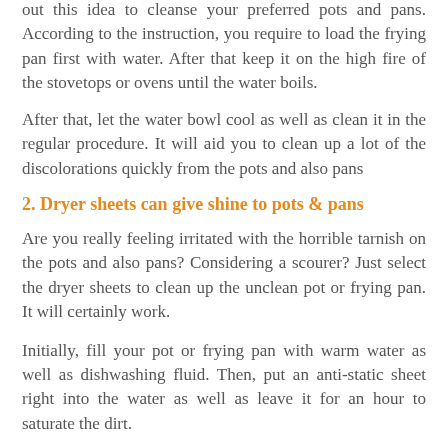out this idea to cleanse your preferred pots and pans. According to the instruction, you require to load the frying pan first with water. After that keep it on the high fire of the stovetops or ovens until the water boils.
After that, let the water bowl cool as well as clean it in the regular procedure. It will aid you to clean up a lot of the discolorations quickly from the pots and also pans
2. Dryer sheets can give shine to pots & pans
Are you really feeling irritated with the horrible tarnish on the pots and also pans? Considering a scourer? Just select the dryer sheets to clean up the unclean pot or frying pan. It will certainly work.
Initially, fill your pot or frying pan with warm water as well as dishwashing fluid. Then, put an anti-static sheet right into the water as well as leave it for an hour to saturate the dirt. After some time you will be interested to find how well with it